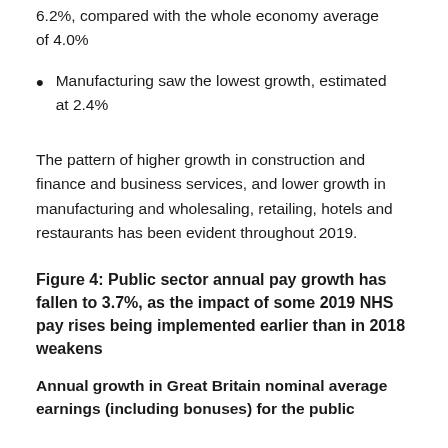6.2%, compared with the whole economy average of 4.0%
Manufacturing saw the lowest growth, estimated at 2.4%
The pattern of higher growth in construction and finance and business services, and lower growth in manufacturing and wholesaling, retailing, hotels and restaurants has been evident throughout 2019.
Figure 4: Public sector annual pay growth has fallen to 3.7%, as the impact of some 2019 NHS pay rises being implemented earlier than in 2018 weakens
Annual growth in Great Britain nominal average earnings (including bonuses) for the public